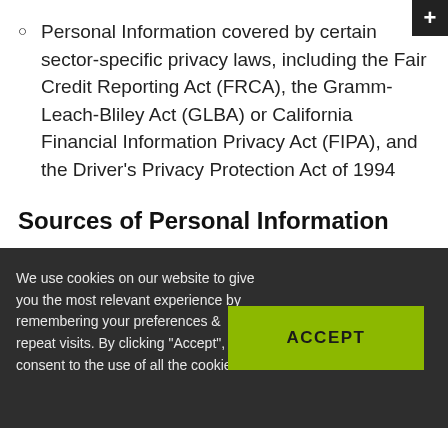Personal Information covered by certain sector-specific privacy laws, including the Fair Credit Reporting Act (FRCA), the Gramm-Leach-Bliley Act (GLBA) or California Financial Information Privacy Act (FIPA), and the Driver's Privacy Protection Act of 1994
Sources of Personal Information
We use cookies on our website to give you the most relevant experience by remembering your preferences & repeat visits. By clicking "Accept", you consent to the use of all the cookies.